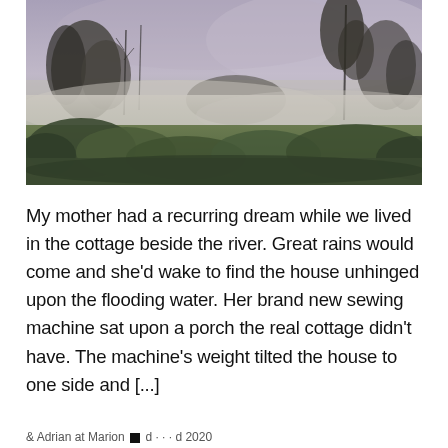[Figure (photo): A misty, foggy landscape photograph showing trees and shrubs in the background with low-lying fog over a field or wetland. The sky is overcast with soft grey-purple tones. The foreground shows green vegetation and bushes. The atmosphere is moody and atmospheric.]
My mother had a recurring dream while we lived in the cottage beside the river. Great rains would come and she'd wake to find the house unhinged upon the flooding water. Her brand new sewing machine sat upon a porch the real cottage didn't have. The machine's weight tilted the house to one side and [...]
& Adrian at Marion ■ d · · · d 2020